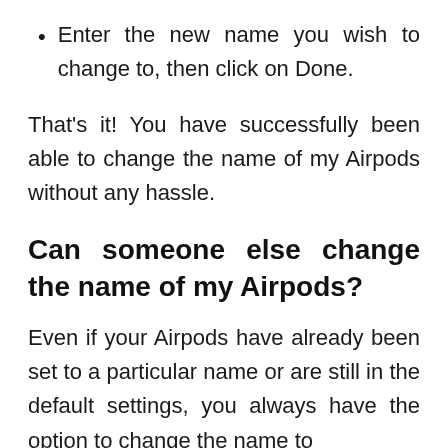Enter the new name you wish to change to, then click on Done.
That's it! You have successfully been able to change the name of my Airpods without any hassle.
Can someone else change the name of my Airpods?
Even if your Airpods have already been set to a particular name or are still in the default settings, you always have the option to change the name to